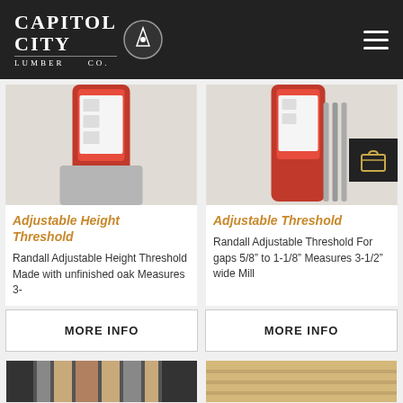Capitol City Lumber Co.
[Figure (photo): Product photo of Adjustable Height Threshold - red packaging tube]
Adjustable Height Threshold
Randall Adjustable Height Threshold Made with unfinished oak Measures 3-
MORE INFO
[Figure (photo): Product photo of Adjustable Threshold - red packaging tube with metal rods]
Adjustable Threshold
Randall Adjustable Threshold For gaps 5/8″ to 1-1/8″ Measures 3-1/2″ wide Mill
MORE INFO
[Figure (photo): Partial product image bottom left]
[Figure (photo): Partial product image bottom right]